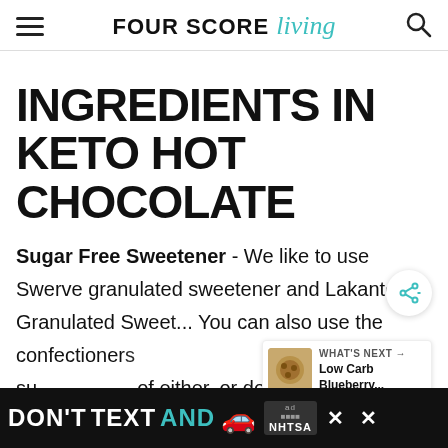FOUR SCORE living
INGREDIENTS IN KETO HOT CHOCOLATE
Sugar Free Sweetener - We like to use Swerve granulated sweetener and Lakanto Granulated Swee'... You can also use the confectioners su... of either, or do like t... th... down
[Figure (screenshot): Advertisement banner: DON'T TEXT AND [car emoji] ad NHTSA with close buttons]
[Figure (screenshot): What's Next callout: Low Carb Blueberry... with thumbnail image of blueberry muffin/cookie]